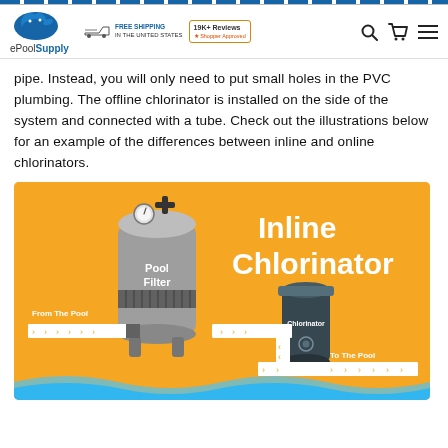ePoolSupply — FREE SHIPPING IN THE UNITED STATES — 19K+ Reviews — Shopper Approved
pipe. Instead, you will only need to put small holes in the PVC plumbing. The offline chlorinator is installed on the side of the system and connected with a tube. Check out the illustrations below for an example of the differences between inline and online chlorinators.
[Figure (infographic): Infographic on orange background showing an Inline Chlorinator diagram. A pool filter (gray cylindrical tank with gauge and valves) is labeled 'Pool Filter'. A smaller dark cylinder is labeled 'Chlorinator'. Arrows show water flow from the pool through the filter and chlorinator back to the pool. Labels: 'From The Pool', 'To The Pool', 'Inline Chlorinator' in large white bold text.]